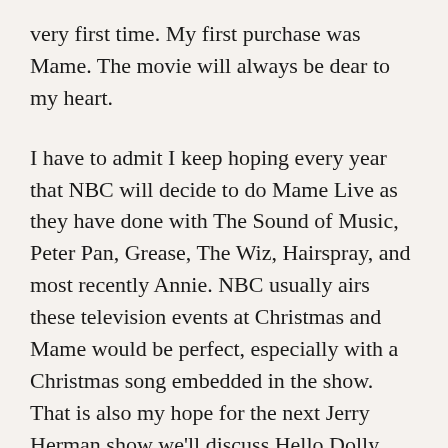very first time.  My first purchase was Mame.  The movie will always be dear to my heart.
I have to admit I keep hoping every year that NBC will decide to do Mame Live as they have done with The Sound of Music, Peter Pan, Grease, The Wiz, Hairspray, and most recently Annie.  NBC usually airs these television events at Christmas and Mame would be perfect, especially with a Christmas song embedded in the show.  That is also my hope for the next Jerry Herman show we'll discuss Hello Dolly.
Hello Dolly opened in 1964.  It is the story of Dolly Levi a widow who has decided to “rejoin the human